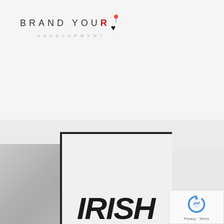[Figure (logo): Brand You Development logo — text reads BRAND YOU with stylized R in red and a small bird/heart icon, with DEVELOPMENT in spaced gray letters below]
Add To Cart
[Figure (photo): Photo of stacked books/boxes — a concrete/stone textured box on left and a white sign/board on right showing partial text IRISH in bold black italic letters, with a reCAPTCHA widget overlay in bottom right corner]